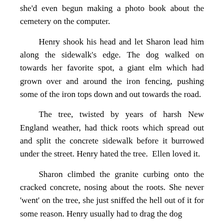she'd even begun making a photo book about the cemetery on the computer.
Henry shook his head and let Sharon lead him along the sidewalk's edge. The dog walked on towards her favorite spot, a giant elm which had grown over and around the iron fencing, pushing some of the iron tops down and out towards the road.
The tree, twisted by years of harsh New England weather, had thick roots which spread out and split the concrete sidewalk before it burrowed under the street. Henry hated the tree.  Ellen loved it.
Sharon climbed the granite curbing onto the cracked concrete, nosing about the roots. She never 'went' on the tree, she just sniffed the hell out of it for some reason. Henry usually had to drag the dog